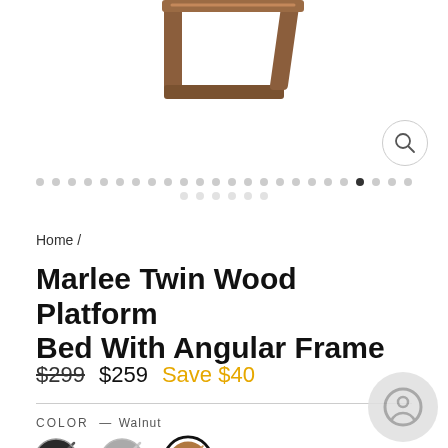[Figure (photo): Partial view of a wooden bed frame angular headboard/footboard in walnut finish against white background]
[Figure (other): Image carousel navigation dots, row of ~24 small dots with one filled/active dot near right end, and a second row of 6 lighter dots below]
Home /
Marlee Twin Wood Platform Bed With Angular Frame
$299  $259  Save $40
COLOR — Walnut
[Figure (other): Three color swatches: black (with diagonal stripe), silver/gray (with diagonal stripe), walnut/brown (selected, with thick black border ring)]